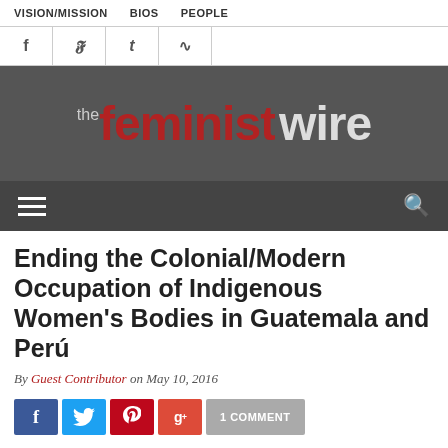VISION/MISSION   BIOS   PEOPLE
[Figure (logo): The Feminist Wire logo — 'the' in small gray text, 'feminist' in large bold red, 'wire' in large bold dark gray, on a dark gray background]
Ending the Colonial/Modern Occupation of Indigenous Women's Bodies in Guatemala and Perú
By Guest Contributor on May 10, 2016